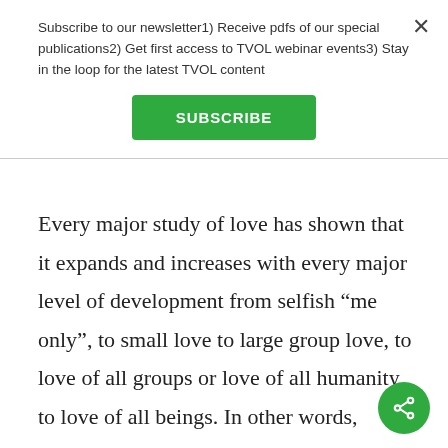Subscribe to our newsletter1) Receive pdfs of our special publications2) Get first access to TVOL webinar events3) Stay in the loop for the latest TVOL content
SUBSCRIBE
Every major study of love has shown that it expands and increases with every major level of development from selfish “me only”, to small love to large group love, to love of all groups or love of all humanity, to love of all beings. In other words, evolution and love go hand in hand, an example of spirit in action if ever there